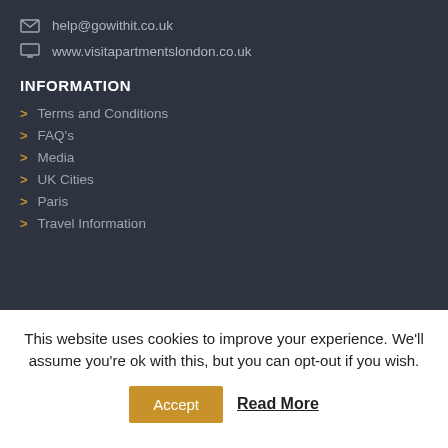help@gowithit.co.uk
www.visitapartmentslondon.co.uk
INFORMATION
Terms and Conditions
FAQ's
Media
UK Cities
Paris
Travel Information
This website uses cookies to improve your experience. We'll assume you're ok with this, but you can opt-out if you wish.
Accept
Read More